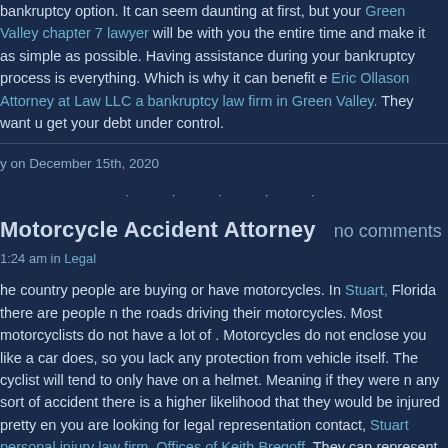bankruptcy option. It can seem daunting at first, but your Green Valley chapter 7 lawyer will be with you the entire time and make it as simple as possible. Having assistance during your bankruptcy process is everything. Which is why it can benefit e Eric Ollason Attorney at Law LLC a bankruptcy law firm in Green Valley. They want u get your debt under control.
y on December 15th, 2020
. . . . .
Motorcycle Accident Attorney
no comments
1:24 am in Legal
he country people are buying or have motorcycles. In Stuart, Florida there are people n the roads driving their motorcycles. Most motorcyclists do not have a lot of . Motorcycles do not enclose you like a car does, so you lack any protection from vehicle itself. The cyclist will tend to only have on a helmet. Meaning if they were n any sort of accident there is a higher likelihood that they would be injured pretty en you are looking for legal representation contact, Stuart personal injury law firm, Offices of Keith Bregoff. They can represent you in your motorcycle accident case.
red in a motorcycle accident case is common. The other drivers on the road do not ok for motorcycles on the road. Which causes accidents to happen. A Stuart